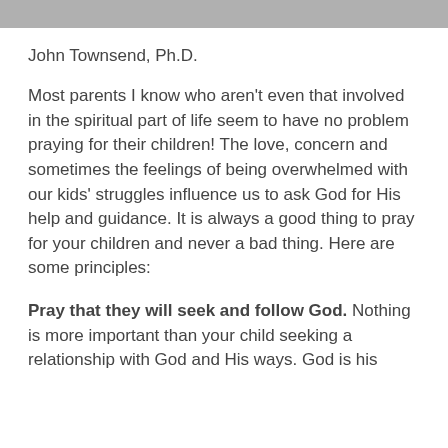John Townsend, Ph.D.
Most parents I know who aren't even that involved in the spiritual part of life seem to have no problem praying for their children! The love, concern and sometimes the feelings of being overwhelmed with our kids' struggles influence us to ask God for His help and guidance. It is always a good thing to pray for your children and never a bad thing. Here are some principles:
Pray that they will seek and follow God. Nothing is more important than your child seeking a relationship with God and His ways. God is his